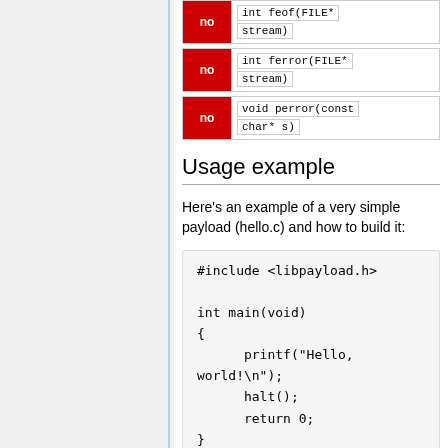| status | signature |
| --- | --- |
| no | int feof(FILE*
stream) |
| no | int ferror(FILE*
stream) |
| no | void perror(const
char* s) |
Usage example
Here's an example of a very simple payload (hello.c) and how to build it: